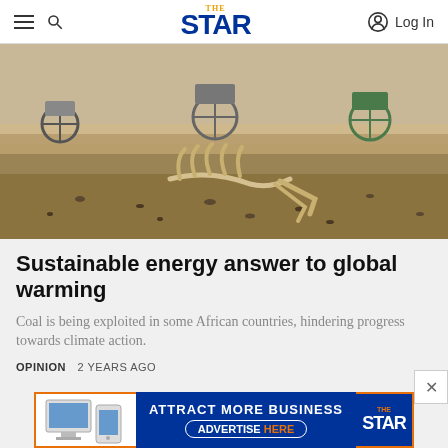THE STAR — Log In
[Figure (photo): Dried animal skeleton/ribcage lying on cracked desert ground with carts visible in background, depicting drought and arid conditions in Africa]
Sustainable energy answer to global warming
Coal is being exploited in some African countries, hindering progress towards climate action.
OPINION   2 YEARS AGO
[Figure (other): Advertisement banner: ATTRACT MORE BUSINESS — ADVERTISE HERE — THE STAR logo]